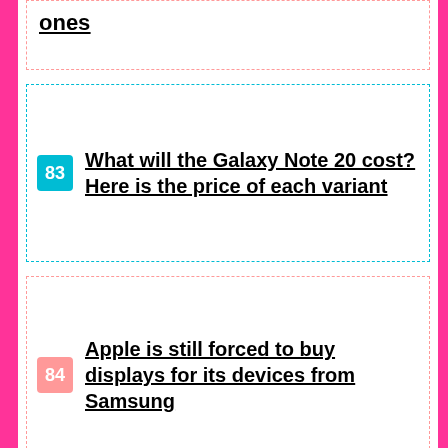ones
83 What will the Galaxy Note 20 cost? Here is the price of each variant
84 Apple is still forced to buy displays for its devices from Samsung
85 Samsung Galaxy A01 Core is reality: the smartphone with the removable battery is back